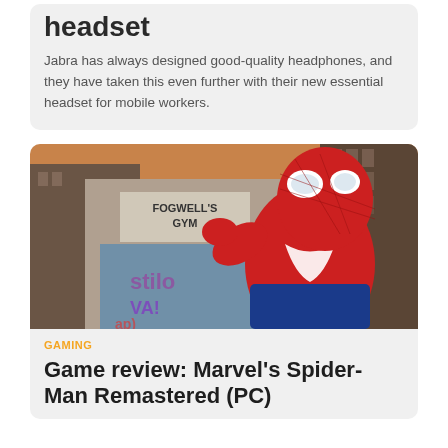headset
Jabra has always designed good-quality headphones, and they have taken this even further with their new essential headset for mobile workers.
[Figure (photo): Spider-Man character in red and blue suit giving peace sign in front of Fogwell's Gym building with graffiti]
GAMING
Game review: Marvel's Spider-Man Remastered (PC)